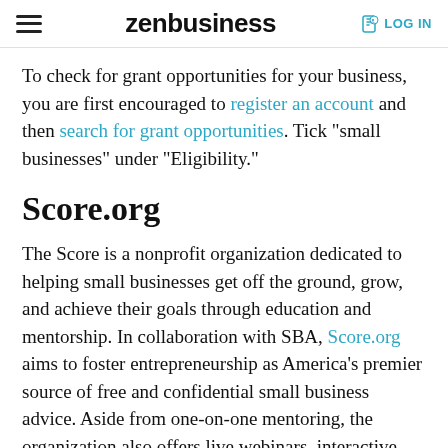zenbusiness  LOG IN
To check for grant opportunities for your business, you are first encouraged to register an account and then search for grant opportunities. Tick “small businesses” under “Eligibility.”
Score.org
The Score is a nonprofit organization dedicated to helping small businesses get off the ground, grow, and achieve their goals through education and mentorship. In collaboration with SBA, Score.org aims to foster entrepreneurship as America’s premier source of free and confidential small business advice. Aside from one-on-one mentoring, the organization also offers live webinars, interactive courses on demand, and local workshops